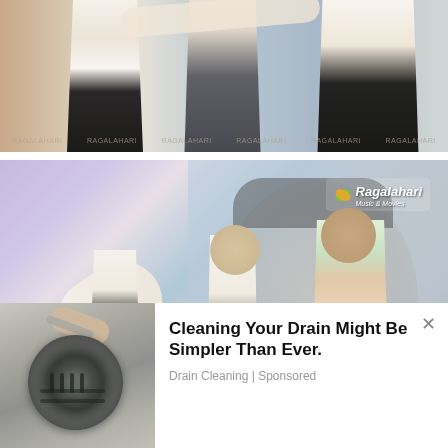[Figure (photo): Top photo showing people in white clothing at what appears to be an event, with Ragalahari watermarks across the image]
[Figure (photo): Bottom photo showing men at an event, one bowing/bending, others standing including a man in green shirt holding flowers. Ragalahari logo visible top right. Banana/fruit icon overlay on left. Background shows a large portrait poster.]
[Figure (photo): Advertisement with drain cleaning image on left side]
Cleaning Your Drain Might Be Simpler Than Ever.
Drain Cleaning | Sponsored